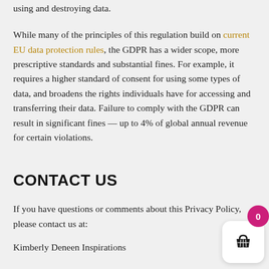using and destroying data.
While many of the principles of this regulation build on current EU data protection rules, the GDPR has a wider scope, more prescriptive standards and substantial fines. For example, it requires a higher standard of consent for using some types of data, and broadens the rights individuals have for accessing and transferring their data. Failure to comply with the GDPR can result in significant fines — up to 4% of global annual revenue for certain violations.
CONTACT US
If you have questions or comments about this Privacy Policy, please contact us at:
Kimberly Deneen Inspirations